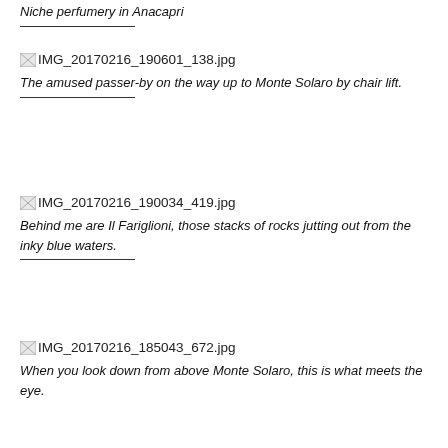Niche perfumery in Anacapri
[Figure (photo): IMG_20170216_190601_138.jpg — broken image placeholder]
The amused passer-by on the way up to Monte Solaro by chair lift.
[Figure (photo): IMG_20170216_190034_419.jpg — broken image placeholder]
Behind me are Il Fariglioni, those stacks of rocks jutting out from the inky blue waters.
[Figure (photo): IMG_20170216_185043_672.jpg — broken image placeholder]
When you look down from above Monte Solaro, this is what meets the eye.